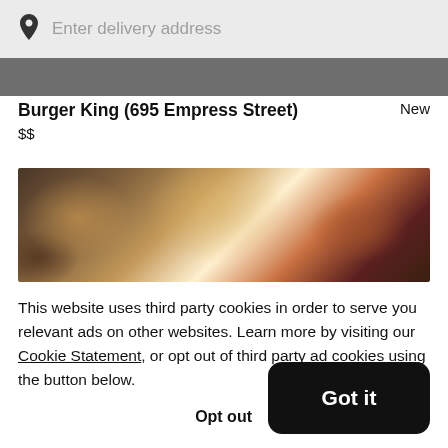Enter delivery address
[Figure (photo): Dark gray strip banner, partial restaurant header image]
Burger King (695 Empress Street)
New
$$
[Figure (photo): Food items from Burger King restaurant, colorful food photography]
This website uses third party cookies in order to serve you relevant ads on other websites. Learn more by visiting our Cookie Statement, or opt out of third party ad cookies using the button below.
Opt out
Got it